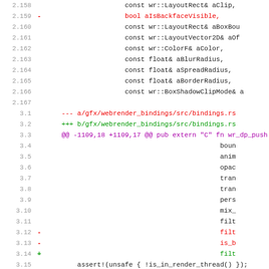[Figure (screenshot): Code diff view showing changes to C++ and Rust source files. Lines 2.158-2.167 show C++ function parameters, and lines 3.1-3.23 show a diff of gfx/webrender_bindings/src/bindings.rs with removed and added lines marked with - and + symbols.]